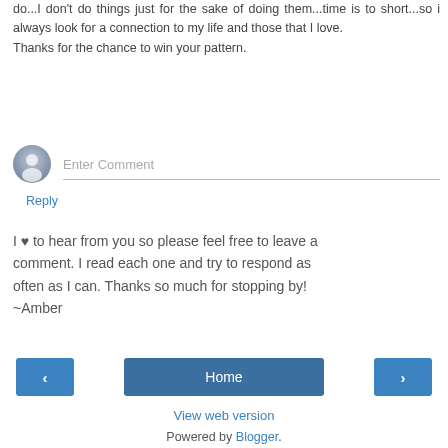do...I don't do things just for the sake of doing them...time is to short...so i always look for a connection to my life and those that I love.
Thanks for the chance to win your pattern.
Reply
[Figure (other): Comment input area with avatar icon and 'Enter Comment' placeholder text field]
I ♥ to hear from you so please feel free to leave a comment. I read each one and try to respond as often as I can. Thanks so much for stopping by!
~Amber
[Figure (other): Navigation buttons: left arrow, Home, right arrow]
View web version
Powered by Blogger.